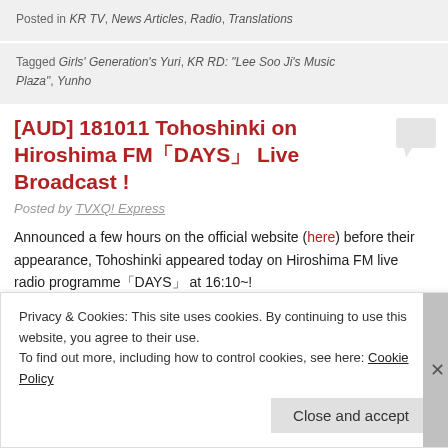Posted in KR TV, News Articles, Radio, Translations
Tagged Girls' Generation's Yuri, KR RD: "Lee Soo Ji's Music Plaza", Yunho
[AUD] 181011 Tohoshinki on Hiroshima FM「DAYS」Live Broadcast !
Posted by TVXQ! Express
Announced a few hours on the official website (here) before their appearance, Tohoshinki appeared today on Hiroshima FM live radio programme「DAYS」at 16:10~!
Privacy & Cookies: This site uses cookies. By continuing to use this website, you agree to their use.
To find out more, including how to control cookies, see here: Cookie Policy
Close and accept